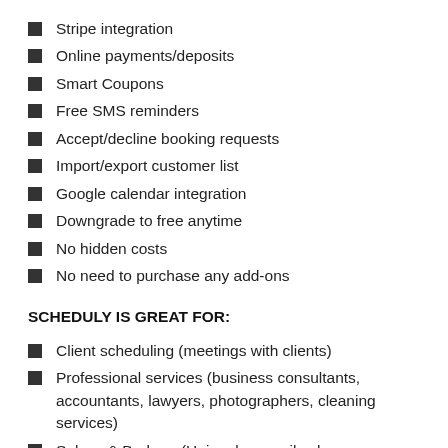Stripe integration
Online payments/deposits
Smart Coupons
Free SMS reminders
Accept/decline booking requests
Import/export customer list
Google calendar integration
Downgrade to free anytime
No hidden costs
No need to purchase any add-ons
SCHEDULY IS GREAT FOR:
Client scheduling (meetings with clients)
Professional services (business consultants, accountants, lawyers, photographers, cleaning services)
Salons & Barbers (Hair salons, nail salons, cosmetology, tanning, studios, tattoo shops)